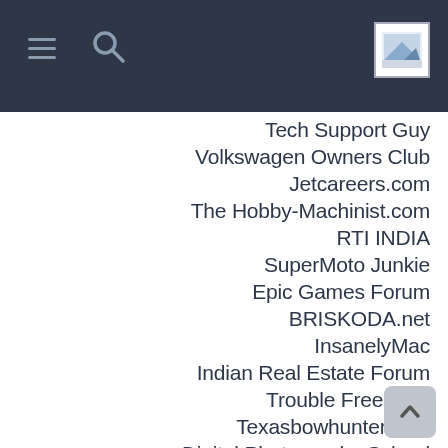Navigation bar with hamburger menu, search icon, and logo
Tech Support Guy
Volkswagen Owners Club
Jetcareers.com
The Hobby-Machinist.com
RTI INDIA
SuperMoto Junkie
Epic Games Forum
BRISKODA.net
InsanelyMac
Indian Real Estate Forum
Trouble Free Pool
Texasbowhunter.com
Digital Photography School
BMW 5 Series Owners Board
Student Doctor Network